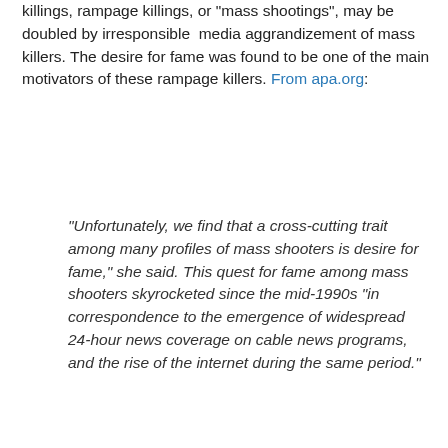killings, rampage killings, or "mass shootings", may be doubled by irresponsible media aggrandizement of mass killers. The desire for fame was found to be one of the main motivators of these rampage killers. From apa.org:
“Unfortunately, we find that a cross-cutting trait among many profiles of mass shooters is desire for fame,” she said. This quest for fame among mass shooters skyrocketed since the mid-1990s “in correspondence to the emergence of widespread 24-hour news coverage on cable news programs, and the rise of the internet during the same period.”
She cited several media contagion models, most notably one proposed by Towers et al. (2015), which found the rate of mass shootings has escalated to an average of one every 12.5 days, and one school shooting on average every 31.6 days, compared to a pre-2000 level of about three events per year. “A possibility is that news